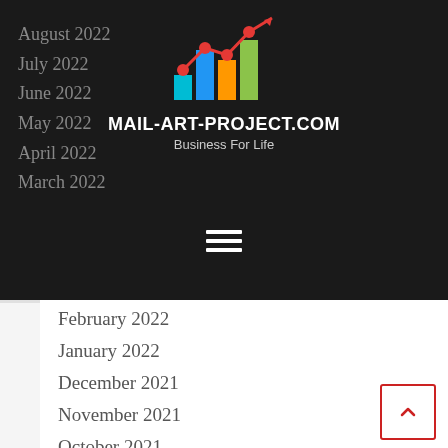[Figure (logo): Bar chart logo with upward trending line, site title MAIL-ART-PROJECT.COM and tagline Business For Life]
August 2022
July 2022
June 2022
May 2022
April 2022
March 2022
February 2022
January 2022
December 2021
November 2021
October 2021
September 2021